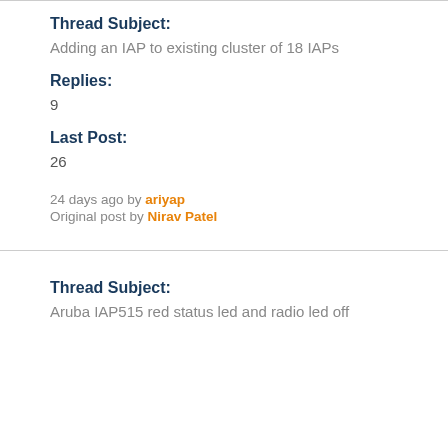Thread Subject:
Adding an IAP to existing cluster of 18 IAPs
Replies:
9
Last Post:
26
24 days ago by ariyap
Original post by Nirav Patel
Thread Subject:
Aruba IAP515 red status led and radio led off